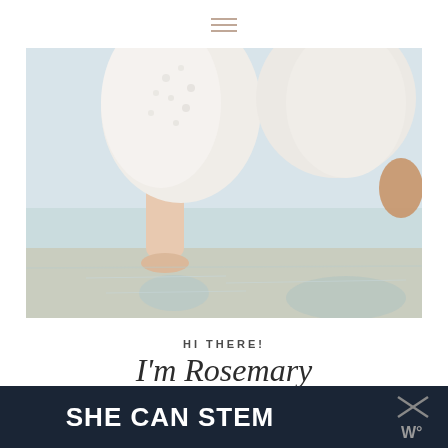[Figure (other): Hamburger menu icon with three horizontal lines in tan/beige color]
[Figure (photo): Photo of a person in a white eyelet lace dress walking through shallow water at the beach, showing legs and skirt with water reflection]
HI THERE!
I'm Rosemary
[Figure (other): Social media icons: Facebook, Pinterest, Instagram]
[Figure (other): Bottom banner with dark navy background showing text SHE CAN STEM in bold white letters, and an X icon with stylized W logo on the right side]